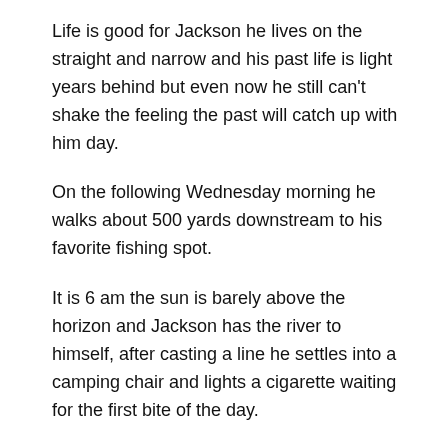Life is good for Jackson he lives on the straight and narrow and his past life is light years behind but even now he still can't shake the feeling the past will catch up with him day.
On the following Wednesday morning he walks about 500 yards downstream to his favorite fishing spot.
It is 6 am the sun is barely above the horizon and Jackson has the river to himself, after casting a line he settles into a camping chair and lights a cigarette waiting for the first bite of the day.
'Hello Jackson fancy seeing you here, don't you know that smoking will kill you one day but lucky for i am here to help you die a lot earlier'.
Jackson's skin crawls at the sound of the voice behind him and he sighs in defeat, spinning his chair Jeremiah